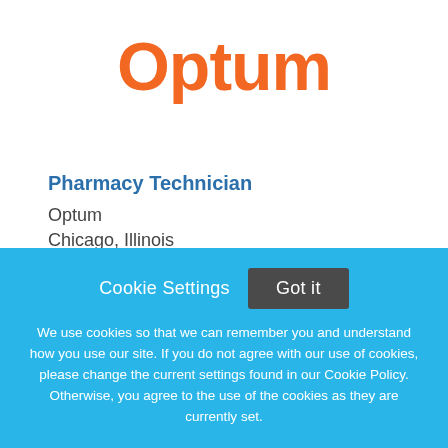[Figure (logo): Optum logo in orange bold text]
Pharmacy Technician
Optum
Chicago, Illinois
Cookie Settings  Got it
We use cookies so that we can remember you and understand how you use our site. If you do not agree with our use of cookies, please change the current settings found in our Cookie Policy. Otherwise, you agree to the use of the cookies as they are currently set.